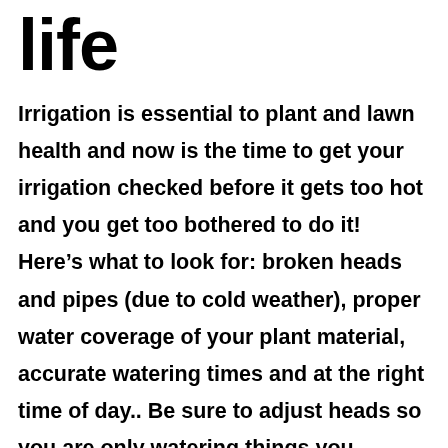life
Irrigation is essential to plant and lawn health and now is the time to get your irrigation checked before it gets too hot and you get too bothered to do it! Here’s what to look for: broken heads and pipes (due to cold weather), proper water coverage of your plant material, accurate watering times and at the right time of day.. Be sure to adjust heads so you are only watering things you should.
Fertilize with care